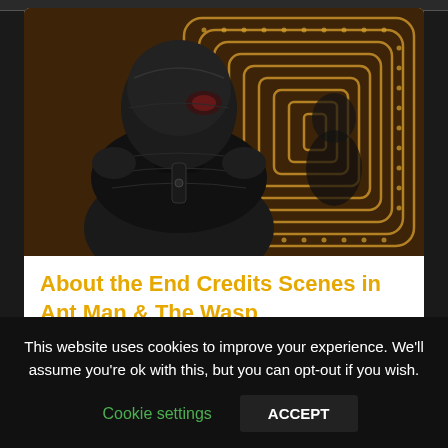[Figure (photo): A person wearing the Ant-Man superhero suit (black armored helmet with red eye lens) seen from behind, standing in front of a background with concentric rectangular patterns of golden/warm lights.]
About the End Credits Scenes in Ant Man & The Wasp
This website uses cookies to improve your experience. We'll assume you're ok with this, but you can opt-out if you wish.
Cookie settings   ACCEPT